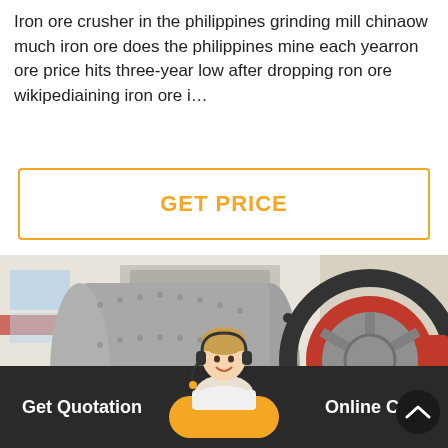Iron ore crusher in the philippines grinding mill chinaow much iron ore does the philippines mine each yearron ore price hits three-year low after dropping ron ore wikipediaining iron ore i…
[Figure (other): Orange-bordered button with text GET PRICE in orange bold font on white background]
[Figure (photo): Industrial ball mill with large red gear wheel, gray cylindrical drum with bolt studs, parked outdoors near a building]
Get Quotation   Online Chat